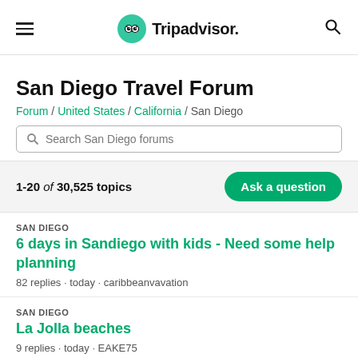[Figure (logo): Tripadvisor logo with green owl icon and wordmark, hamburger menu on left, search icon on right]
San Diego Travel Forum
Forum / United States / California / San Diego
Search San Diego forums
1-20 of 30,525 topics
SAN DIEGO
6 days in Sandiego with kids - Need some help planning
82 replies · today · caribbeanvavation
SAN DIEGO
La Jolla beaches
9 replies · today · EAKE75